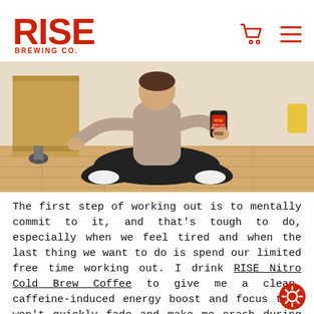RISE BREWING CO.
[Figure (photo): Person sitting cross-legged on a wooden floor in a yoga/meditation pose, holding a RISE Brewing Co. can in one hand, with a yellow item visible in the other hand. Background shows a cardboard box and shelving.]
The first step of working out is to mentally commit to it, and that's tough to do, especially when we feel tired and when the last thing we want to do is spend our limited free time working out. I drink RISE Nitro Cold Brew Coffee to give me a clean, caffeine-induced energy boost and focus that won't quickly fade and make me crash during my workouts, as a sugary energy drink or snack would. The low acidity in RISE doesn't affect my stomach like a regular hot coffee would, allowing me to drink one as I start my workout before switching to water. Most importantly, I don't have an easy